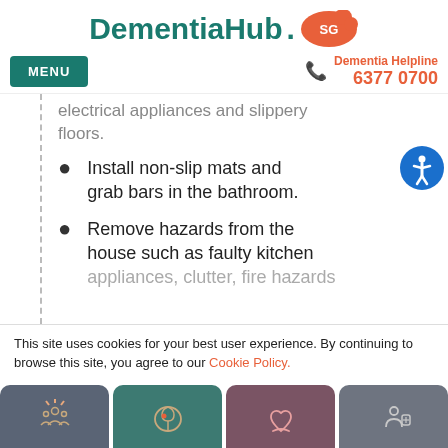[Figure (logo): DementiaHub.SG logo with teal text and orange brain icon]
MENU | Dementia Helpline 6377 0700
electrical appliances and slippery floors.
Install non-slip mats and grab bars in the bathroom.
Remove hazards from the house such as faulty kitchen appliances, clutter, fire hazards
This site uses cookies for your best user experience. By continuing to browse this site, you agree to our Cookie Policy.
[Figure (infographic): Bottom navigation bar with four icon buttons: community/people icon (dark slate), brain icon (teal), heart/care icon (mauve), medical professional icon (gray)]